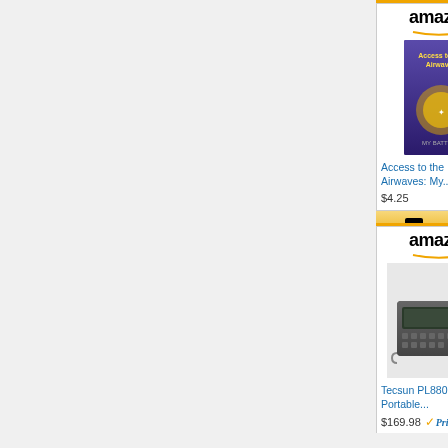[Figure (screenshot): Amazon product advertisement grid showing 4 products: Access to the Airwaves book at $4.25, Roku 2 XD Streaming device at $39.75 (Prime), Tecsun PL880 Portable radio at $169.98 (Prime), and Beano Food Enzyme supplement. Each product has Amazon logo, product image, title, price, and Shop now button.]